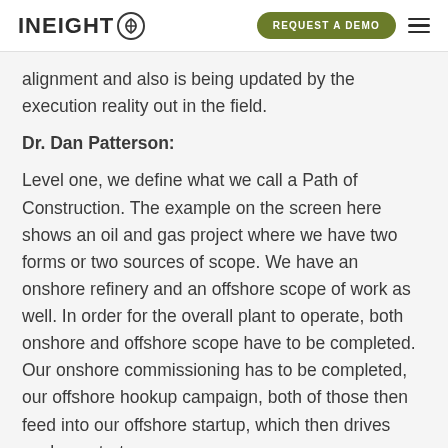INEIGHT — REQUEST A DEMO
alignment and also is being updated by the execution reality out in the field.
Dr. Dan Patterson:
Level one, we define what we call a Path of Construction. The example on the screen here shows an oil and gas project where we have two forms or two sources of scope. We have an onshore refinery and an offshore scope of work as well. In order for the overall plant to operate, both onshore and offshore scope have to be completed. Our onshore commissioning has to be completed, our offshore hookup campaign, both of those then feed into our offshore startup, which then drives onshore startup.